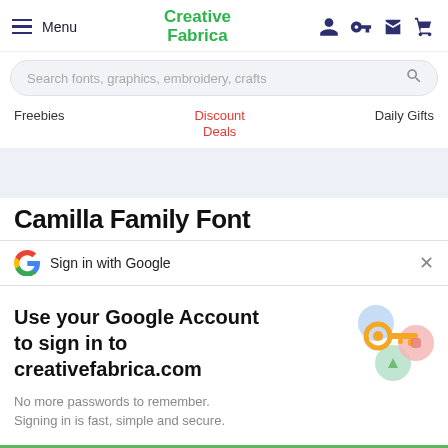Menu | Creative Fabrica
Search fonts, graphics, embroidery, crafts
Freebies | Discount Deals | Daily Gifts
Camilla Family Font
Sign in with Google
Use your Google Account to sign in to creativefabrica.com
No more passwords to remember.
Signing in is fast, simple and secure.
[Figure (illustration): Google sign-in illustration with a golden key and colorful circles]
Continue